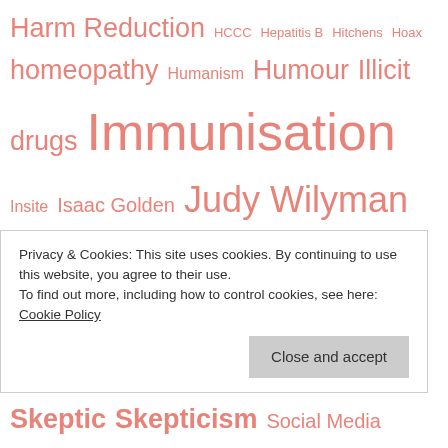Harm Reduction HCCC Hepatitis B Hitchens Hoax homeopathy Humanism Humour Illicit drugs Immunisation Insite Isaac Golden Judy Wilyman Julie Leask Ken Harvey Kerryn Phelps Kronic Legal Legalisation Measles Media Meryl Dorey MMR Monica Smit Monika's Entity National School Chaplaincy Association Needle Syringe Programs NSCP Parliament pertussis Polio Politics Skeptic Skepticism Social Media
Privacy & Cookies: This site uses cookies. By continuing to use this website, you agree to their use.
To find out more, including how to control cookies, see here:
Cookie Policy
Close and accept